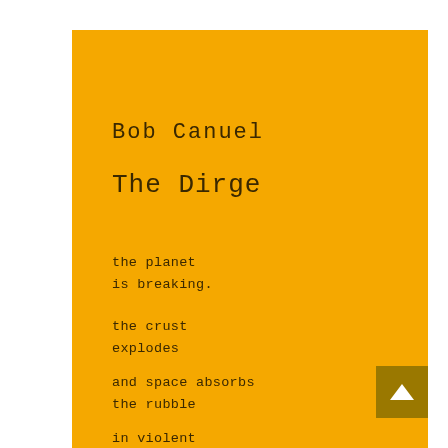Bob Canuel
The Dirge
the planet
is breaking.
the crust
explodes
and space absorbs
the rubble
in violent